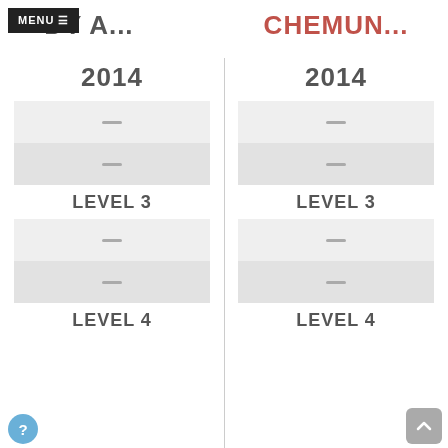MENU ≡  ...DY A...   CHEMUN...
2014
2014
LEVEL 3
LEVEL 3
LEVEL 4
LEVEL 4